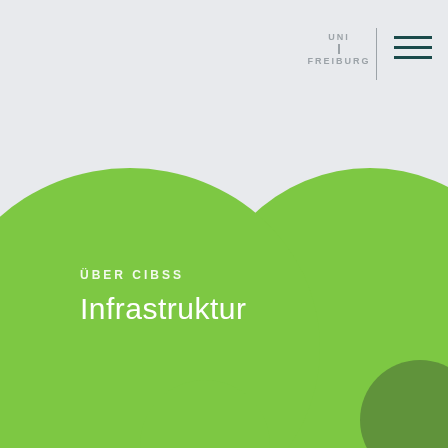[Figure (logo): Uni Freiburg logo with vertical text UNI FREIBURG separated by vertical bar, and hamburger menu icon (three horizontal lines) to the right]
[Figure (illustration): Large green rounded blob shapes covering the lower two-thirds of the page, with a smaller olive/dark green circle at bottom right]
ÜBER CIBSS
Infrastruktur